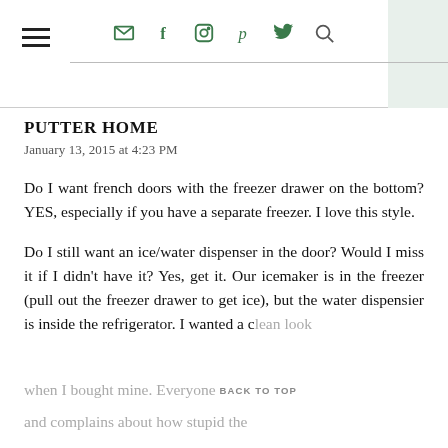PUTTER HOME navigation header with social icons
PUTTER HOME
January 13, 2015 at 4:23 PM
Do I want french doors with the freezer drawer on the bottom? YES, especially if you have a separate freezer. I love this style.
Do I still want an ice/water dispenser in the door? Would I miss it if I didn't have it? Yes, get it. Our icemaker is in the freezer (pull out the freezer drawer to get ice), but the water dispensier is inside the refrigerator. I wanted a clean look when I bought mine. Everyone and complains about how stupid the